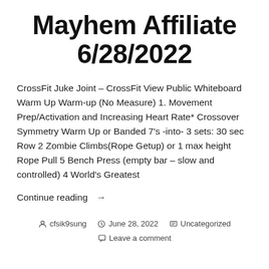Mayhem Affiliate 6/28/2022
CrossFit Juke Joint – CrossFit View Public Whiteboard Warm Up Warm-up (No Measure) 1. Movement Prep/Activation and Increasing Heart Rate* Crossover Symmetry Warm Up or Banded 7's -into- 3 sets: 30 sec Row 2 Zombie Climbs(Rope Getup) or 1 max height Rope Pull 5 Bench Press (empty bar – slow and controlled) 4 World's Greatest
Continue reading →
cfsik9sung   June 28, 2022   Uncategorized   Leave a comment